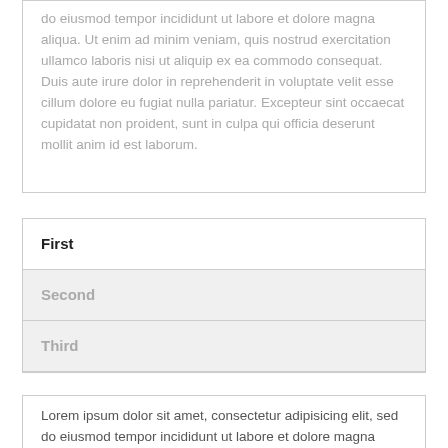do eiusmod tempor incididunt ut labore et dolore magna aliqua. Ut enim ad minim veniam, quis nostrud exercitation ullamco laboris nisi ut aliquip ex ea commodo consequat. Duis aute irure dolor in reprehenderit in voluptate velit esse cillum dolore eu fugiat nulla pariatur. Excepteur sint occaecat cupidatat non proident, sunt in culpa qui officia deserunt mollit anim id est laborum.
First
Second
Third
Lorem ipsum dolor sit amet, consectetur adipisicing elit, sed do eiusmod tempor incididunt ut labore et dolore magna aliqua. Ut enim ad minim veniam, quis nostrud exercitation ullamco laboris nisi ut aliquip ex ea commodo consequat. Duis